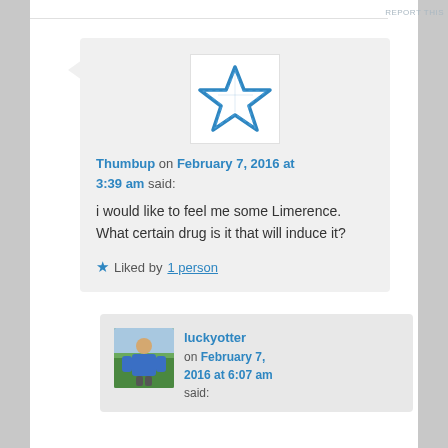REPORT THIS
[Figure (illustration): Blue outlined star icon used as avatar for user 'Thumbup']
Thumbup on February 7, 2016 at 3:39 am said:
i would like to feel me some Limerence. What certain drug is it that will induce it?
Liked by 1 person
[Figure (photo): Small profile photo of user 'luckyotter' showing a person in a blue jacket outdoors with trees in background]
luckyotter on February 7, 2016 at 6:07 am said: